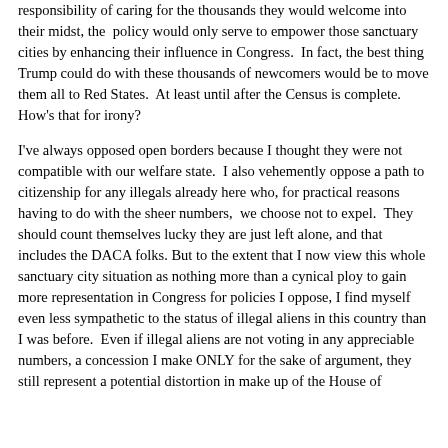responsibility of caring for the thousands they would welcome into their midst, the policy would only serve to empower those sanctuary cities by enhancing their influence in Congress.  In fact, the best thing Trump could do with these thousands of newcomers would be to move them all to Red States.  At least until after the Census is complete.  How's that for irony?
I've always opposed open borders because I thought they were not compatible with our welfare state.  I also vehemently oppose a path to citizenship for any illegals already here who, for practical reasons having to do with the sheer numbers,  we choose not to expel.  They should count themselves lucky they are just left alone, and that includes the DACA folks. But to the extent that I now view this whole sanctuary city situation as nothing more than a cynical ploy to gain more representation in Congress for policies I oppose, I find myself even less sympathetic to the status of illegal aliens in this country than I was before.  Even if illegal aliens are not voting in any appreciable numbers, a concession I make ONLY for the sake of argument, they still represent a potential distortion in make up of the House of